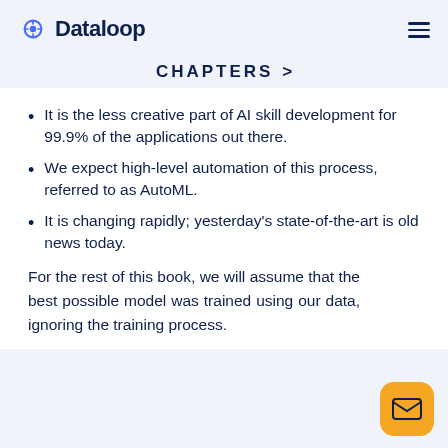Dataloop
CHAPTERS >
It is the less creative part of AI skill development for 99.9% of the applications out there.
We expect high-level automation of this process, referred to as AutoML.
It is changing rapidly; yesterday's state-of-the-art is old news today.
For the rest of this book, we will assume that the best possible model was trained using our data, ignoring the training process.